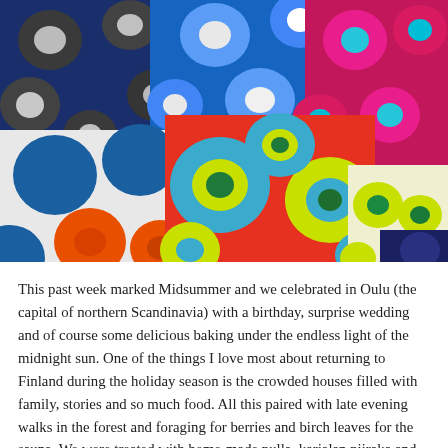[Figure (photo): Colorful Marimekko-style patterned throw pillows with bold floral (Unikko) patterns in various colors including blue, red, orange, pink, magenta, yellow-green, and white, piled together.]
This past week marked Midsummer and we celebrated in Oulu (the capital of northern Scandinavia) with a birthday, surprise wedding and of course some delicious baking under the endless light of the midnight sun. One of the things I love most about returning to Finland during the holiday season is the crowded houses filled with family, stories and so much food. All this paired with late evening walks in the forest and foraging for berries and birch leaves for the sauna. We were treated with home-made pulla, karjalan piiraka and the show-stopper, Summer Sitruuna Tortuu.